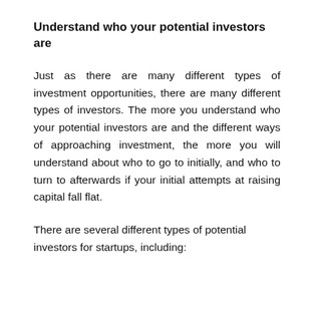Understand who your potential investors are
Just as there are many different types of investment opportunities, there are many different types of investors. The more you understand who your potential investors are and the different ways of approaching investment, the more you will understand about who to go to initially, and who to turn to afterwards if your initial attempts at raising capital fall flat.
There are several different types of potential investors for startups, including: